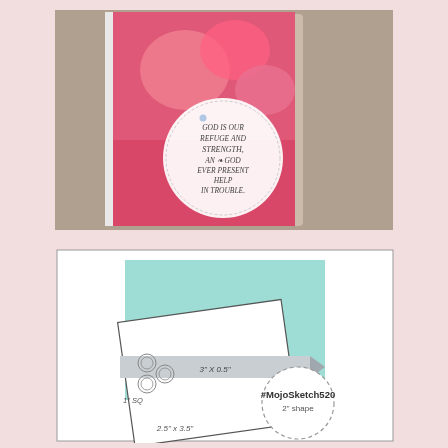[Figure (photo): A handmade greeting card with white scalloped edges, pink floral and gingham patterned paper, and a circular sentiment reading 'God is our refuge and strength, an ever present help in trouble.' displayed on a white surface.]
[Figure (illustration): A card-making sketch/layout diagram labeled #MOJOSKETCH520 showing a white card base with a mint/teal rectangle, a tilted white square (2.5"x3.5"), a gray banner (3"x0.5"), small circles (1"SQ), and a circular shape (2" shape) with dashed border containing the hashtag #MojoSketch520.]